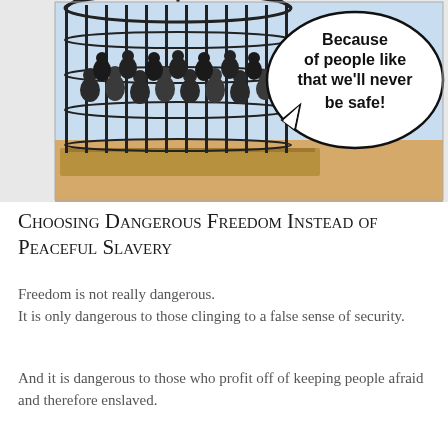[Figure (illustration): A cartoon illustration showing people crowded inside a large birdcage on the left, and a speech bubble on the right saying 'Because of people like that we’ll never be safe!' The background has a light blue and sandy/orange color palette suggesting an outdoor scene.]
Choosing Dangerous Freedom Instead of Peaceful Slavery
Freedom is not really dangerous.
It is only dangerous to those clinging to a false sense of security.
And it is dangerous to those who profit off of keeping people afraid and therefore enslaved.